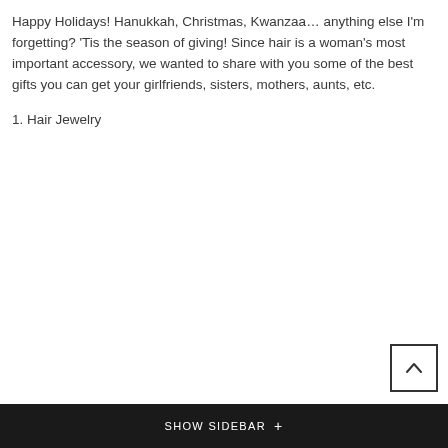Happy Holidays! Hanukkah, Christmas, Kwanzaa… anything else I'm forgetting? 'Tis the season of giving! Since hair is a woman's most important accessory, we wanted to share with you some of the best gifts you can get your girlfriends, sisters, mothers, aunts, etc.
1. Hair Jewelry
SHOW SIDEBAR +